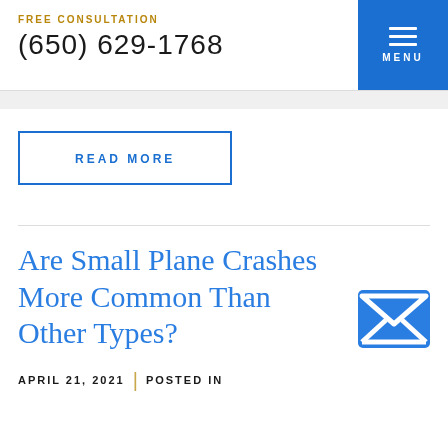FREE CONSULTATION
(650) 629-1768
READ MORE
Are Small Plane Crashes More Common Than Other Types?
APRIL 21, 2021  |  POSTED IN